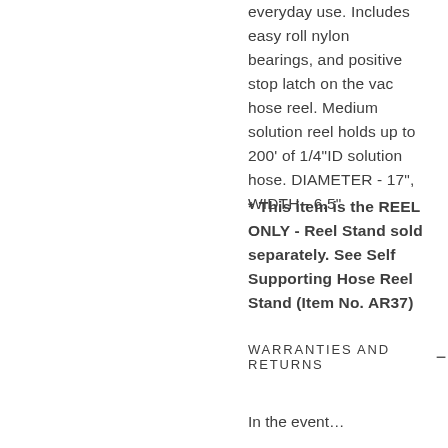everyday use. Includes easy roll nylon bearings, and positive stop latch on the vac hose reel. Medium solution reel holds up to 200' of 1/4"ID solution hose. DIAMETER - 17", WIDTH - 6.5"
* This item is the REEL ONLY - Reel Stand sold separately. See Self Supporting Hose Reel Stand (Item No. AR37)
WARRANTIES AND RETURNS  —
In the event...